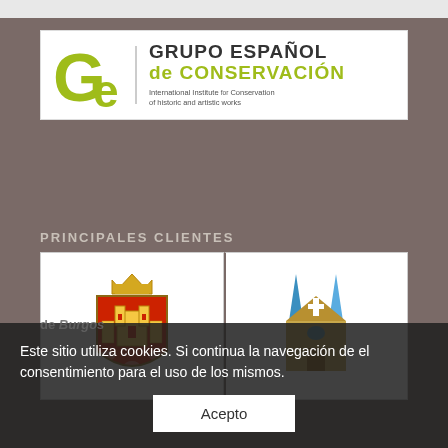[Figure (logo): Grupo Español de Conservación - International Institute for Conservation of historic and artistic works logo with stylized 'Ge' letters in olive green]
PRINCIPALES CLIENTES
[Figure (logo): Coat of arms / escudo with red and yellow heraldic design, castle tower, crown and figure]
[Figure (logo): Church or cathedral icon with two blue spires and a cross on a gold building facade]
Este sitio utiliza cookies. Si continua la navegación de el consentimiento para el uso de los mismos.
Acepto